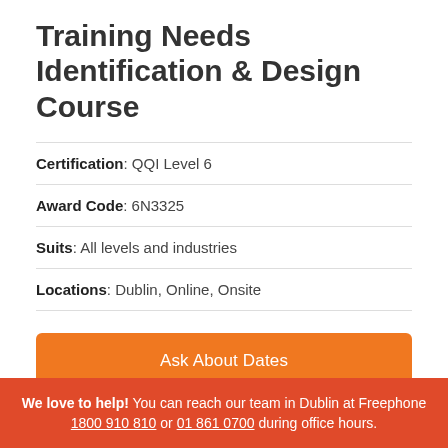Training Needs Identification & Design Course
Certification: QQI Level 6
Award Code: 6N3325
Suits: All levels and industries
Locations: Dublin, Online, Onsite
Ask About Dates
Download Brochure
We love to help! You can reach our team in Dublin at Freephone 1800 910 810 or 01 861 0700 during office hours.